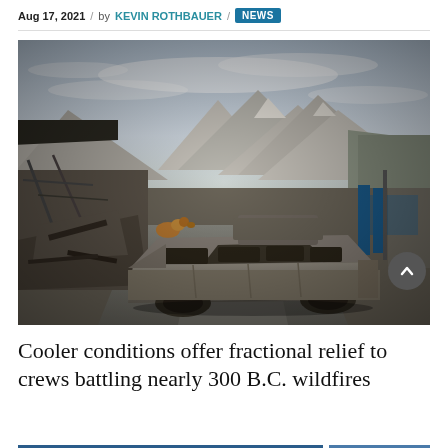Aug 17, 2021 / by KEVIN ROTHBAUER / NEWS
[Figure (photo): Wildfire aftermath scene showing a burned-out vehicle (SUV/minivan) in the foreground on a road, with destroyed structures and debris on the left, and scorched mountains in the background under a cloudy sky. Location appears to be Lytton, British Columbia, Canada after wildfire devastation.]
Cooler conditions offer fractional relief to crews battling nearly 300 B.C. wildfires